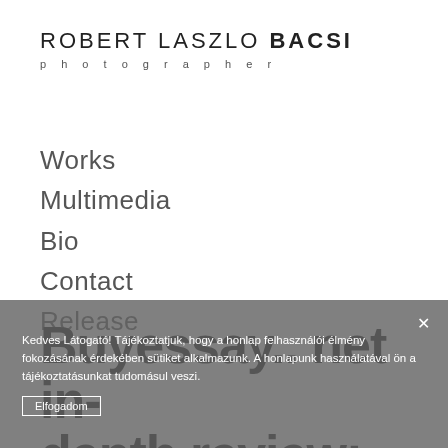ROBERT LASZLO BACSI
photographer
Works
Multimedia
Bio
Contact
Release
Buyessay.. net in-depth review: trustworthy company to buy college written tasks quickly and
Kedves Látogató! Tájékoztatjuk, hogy a honlap felhasználói élmény fokozásának érdekében sütiket alkalmazunk. A honlapunk használatával ön a tájékoztatásunkat tudomásul veszi.
Elfogadom